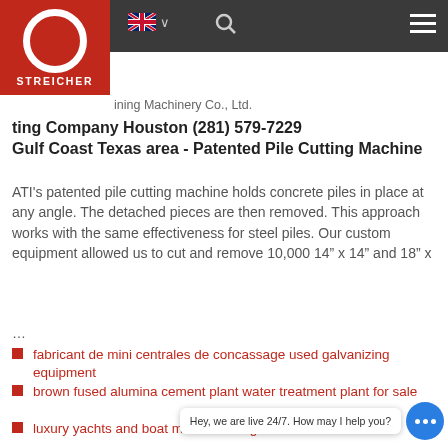[Figure (logo): Streicher company logo — red square with white circular C shape and STREICHER text]
ining Machinery Co., Ltd.
ting Company Houston (281) 579-7229 Gulf Coast Texas area - Patented Pile Cutting Machine
ATI's patented pile cutting machine holds concrete piles in place at any angle. The detached pieces are then removed. This approach works with the same effectiveness for steel piles. Our custom equipment allowed us to cut and remove 10,000 14” x 14” and 18” x
...
fabricant de mini centrales de concassage used galvanizing equipment
brown fused alumina cement plant water treatment plant for sale
luxury yachts and boat manufacturing in india mixed concrete